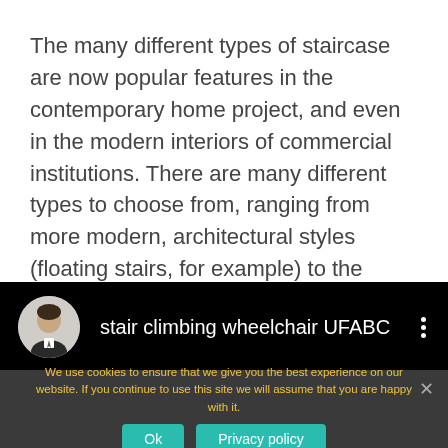The many different types of staircase are now popular features in the contemporary home project, and even in the modern interiors of commercial institutions. There are many different types to choose from, ranging from more modern, architectural styles (floating stairs, for example) to the more antiquated and periodic designs.
[Figure (screenshot): YouTube-style video bar with circular avatar of a man in suit, title 'stair climbing wheelchair UFABC', and three-dot menu icon on black background]
We use cookies to ensure that we give you the best experience on our website. If you continue to use this site we will assume that you are happy with it.